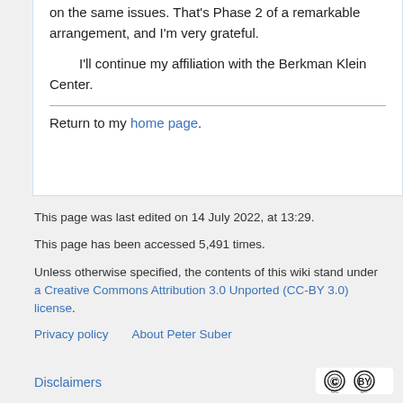on the same issues. That's Phase 2 of a remarkable arrangement, and I'm very grateful.

    I'll continue my affiliation with the Berkman Klein Center.
Return to my home page.
This page was last edited on 14 July 2022, at 13:29.
This page has been accessed 5,491 times.
Unless otherwise specified, the contents of this wiki stand under a Creative Commons Attribution 3.0 Unported (CC-BY 3.0) license.
Privacy policy   About Peter Suber
Disclaimers